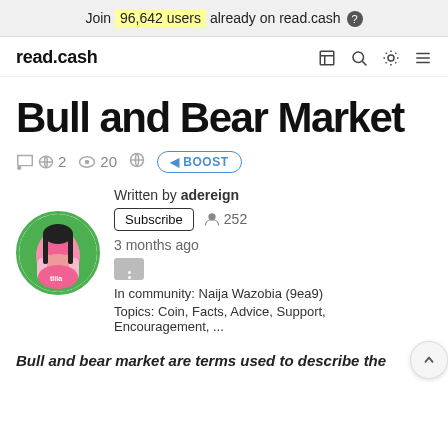Join 96,642 users already on read.cash
read.cash
Bull and Bear Market
2 comments · 20 views · BOOST
Written by adereign
Subscribe · 252 followers
3 months ago
In community: Naija Wazobia (9ea9)
Topics: Coin, Facts, Advice, Support, Encouragement, ...
Bull and bear market are terms used to describe the